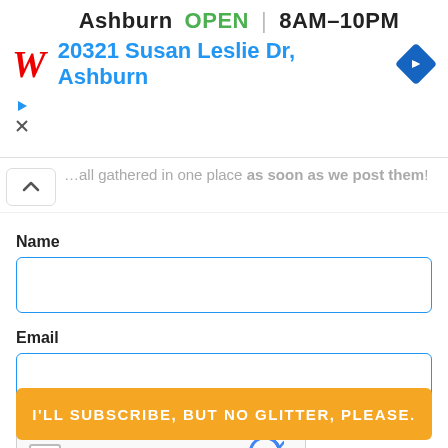[Figure (infographic): Walgreens advertisement banner showing store in Ashburn is OPEN 8AM-10PM, address 20321 Susan Leslie Dr, Ashburn, with navigation diamond icon, play and close icons]
…all gathered in one place as soon as we post them!
Name
Email
[Figure (other): reCAPTCHA widget with checkbox and I'm not a robot label]
I'LL SUBSCRIBE, BUT NO GLITTER, PLEASE.